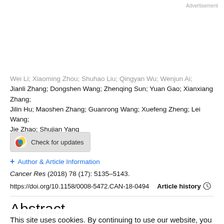Advertisement
Wei Li; Xiaoming Zhou; Shuhao Liu; Qingyan Wu; Wenjun Ai; Jianli Zhang; Dongshen Wang; Zhenqing Sun; Yuan Gao; Xianxiang Zhang; Jilin Hu; Maoshen Zhang; Guanrong Wang; Xuefeng Zheng; Lei Wang; Jie Zhao; Shujian Yang
[Figure (other): Check for updates button with colored icon]
+ Author & Article Information
Cancer Res (2018) 78 (17): 5135–5143.
https://doi.org/10.1158/0008-5472.CAN-18-0494   Article history
Abstract
This site uses cookies. By continuing to use our website, you are agreeing to our privacy policy. Accept
MRI is the gold standard for confirming a peri-lymph node metastasis diagnosis. Traditionally, radiologists have analyzed MRI image features of regional lymph nodes to predict the likelihood of...